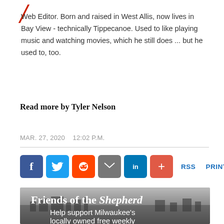[Figure (logo): Red italic numeral or slash icon at top left]
Web Editor. Born and raised in West Allis, now lives in Bay View - technically Tippecanoe. Used to like playing music and watching movies, which he still does ... but he used to, too.
Read more by Tyler Nelson
MAR. 27, 2020    12:02 P.M.
[Figure (infographic): Social sharing buttons row: Facebook (blue), Twitter (blue), Reddit (orange), Email (gray), LinkedIn (dark blue), Plus (red-orange), followed by RSS and PRINT text links in blue]
[Figure (photo): Banner image with city skyline background (grayscale), containing white text 'Friends of the Shepherd' and subtitle 'Help support Milwaukee's locally owned free weekly']